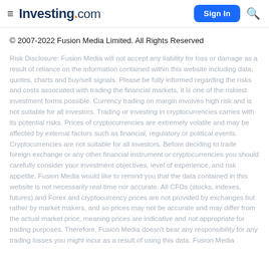Investing.com | Sign In
© 2007-2022 Fusion Media Limited. All Rights Reserved
Risk Disclosure: Fusion Media will not accept any liability for loss or damage as a result of reliance on the information contained within this website including data, quotes, charts and buy/sell signals. Please be fully informed regarding the risks and costs associated with trading the financial markets, it is one of the riskiest investment forms possible. Currency trading on margin involves high risk and is not suitable for all investors. Trading or investing in cryptocurrencies carries with its potential risks. Prices of cryptocurrencies are extremely volatile and may be affected by external factors such as financial, regulatory or political events. Cryptocurrencies are not suitable for all investors. Before deciding to trade foreign exchange or any other financial instrument or cryptocurrencies you should carefully consider your investment objectives, level of experience, and risk appetite. Fusion Media would like to remind you that the data contained in this website is not necessarily real-time nor accurate. All CFDs (stocks, indexes, futures) and Forex and cryptocurrency prices are not provided by exchanges but rather by market makers, and so prices may not be accurate and may differ from the actual market price, meaning prices are indicative and not appropriate for trading purposes. Therefore, Fusion Media doesn't bear any responsibility for any trading losses you might incur as a result of using this data. Fusion Media